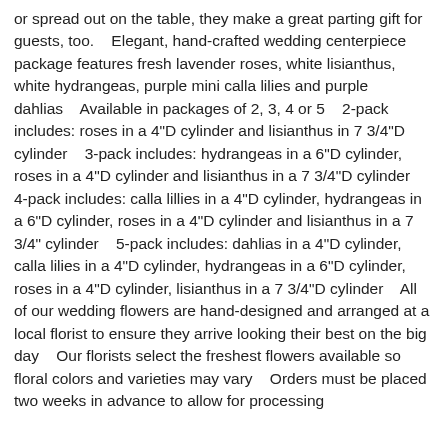or spread out on the table, they make a great parting gift for guests, too.    Elegant, hand-crafted wedding centerpiece package features fresh lavender roses, white lisianthus, white hydrangeas, purple mini calla lilies and purple dahlias    Available in packages of 2, 3, 4 or 5    2-pack includes: roses in a 4"D cylinder and lisianthus in 7 3/4"D cylinder    3-pack includes: hydrangeas in a 6"D cylinder, roses in a 4"D cylinder and lisianthus in a 7 3/4"D cylinder    4-pack includes: calla lillies in a 4"D cylinder, hydrangeas in a 6"D cylinder, roses in a 4"D cylinder and lisianthus in a 7 3/4" cylinder    5-pack includes: dahlias in a 4"D cylinder, calla lilies in a 4"D cylinder, hydrangeas in a 6"D cylinder, roses in a 4"D cylinder, lisianthus in a 7 3/4"D cylinder    All of our wedding flowers are hand-designed and arranged at a local florist to ensure they arrive looking their best on the big day    Our florists select the freshest flowers available so floral colors and varieties may vary    Orders must be placed two weeks in advance to allow for processing